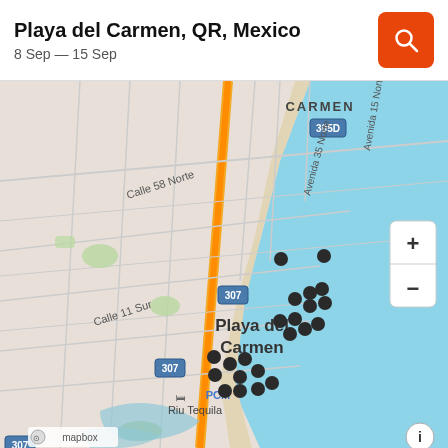Playa del Carmen, QR, Mexico
8 Sep — 15 Sep
[Figure (map): Street map of Playa del Carmen, QR, Mexico showing multiple property/hotel location pins clustered near the coastline. Map includes street labels: Calle 58 Norte, Avenida 35 Norte, Avenida 15 Norte, Calle 11 Sur; highway markers 305D and 307; area labels: Carmen, Playa del Carmen, PCM; landmark: Riu Tequila hotel. Map has zoom +/- controls in the top right, Mapbox attribution and info button in the bottom right. Ocean shown in light blue on the right side.]